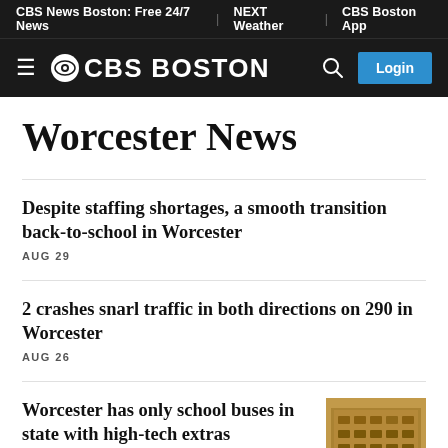CBS News Boston: Free 24/7 News | NEXT Weather | CBS Boston App
CBS BOSTON — Login
Worcester News
Despite staffing shortages, a smooth transition back-to-school in Worcester
AUG 29
2 crashes snarl traffic in both directions on 290 in Worcester
AUG 26
Worcester has only school buses in state with high-tech extras
[Figure (photo): Photo of a building exterior, brown/golden toned]